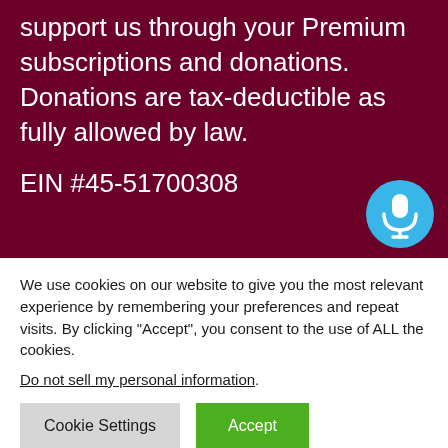support us through your Premium subscriptions and donations. Donations are tax-deductible as fully allowed by law.
EIN #45-51700308
[Figure (other): Blue circular microphone button icon]
We use cookies on our website to give you the most relevant experience by remembering your preferences and repeat visits. By clicking “Accept”, you consent to the use of ALL the cookies.
Do not sell my personal information.
Cookie Settings
Accept